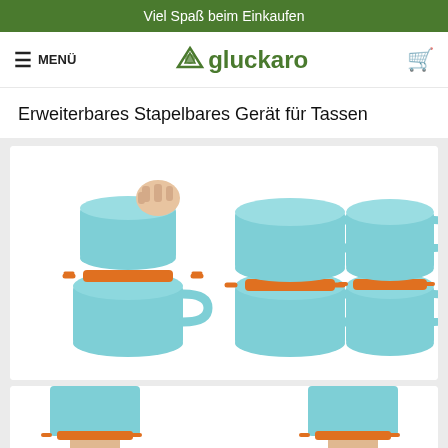Viel Spaß beim Einkaufen
≡ MENÜ  gluckaro  🛒
Erweiterbares Stapelbares Gerät für Tassen
[Figure (photo): Three-step demonstration of a stackable mug device. Blue ceramic mugs stacked using an orange plastic adapter/connector ring. Left panel shows a hand placing a mug onto the orange connector atop another mug; middle panel shows two mugs stacked with the orange connector between them; right panel shows two mugs stacked with the orange connector between them, from a slightly different angle.]
[Figure (photo): Partial view of another product image showing hands holding stacked mugs with orange connector, bottom portion cropped.]